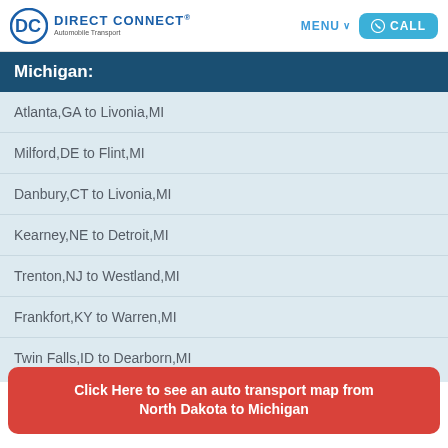Direct Connect Automobile Transport | MENU | CALL
Michigan:
Atlanta,GA to Livonia,MI
Milford,DE to Flint,MI
Danbury,CT to Livonia,MI
Kearney,NE to Detroit,MI
Trenton,NJ to Westland,MI
Frankfort,KY to Warren,MI
Twin Falls,ID to Dearborn,MI
Click Here to see an auto transport map from North Dakota to Michigan